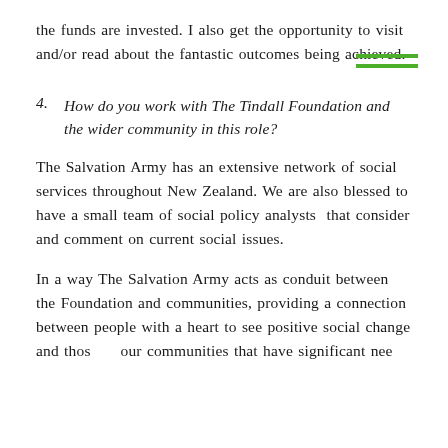the funds are invested. I also get the opportunity to visit and/or read about the fantastic outcomes being achieved.
4. How do you work with The Tindall Foundation and the wider community in this role?
The Salvation Army has an extensive network of social services throughout New Zealand. We are also blessed to have a small team of social policy analysts that consider and comment on current social issues.
In a way The Salvation Army acts as conduit between the Foundation and communities, providing a connection between people with a heart to see positive social change and those in our communities that have significant need.